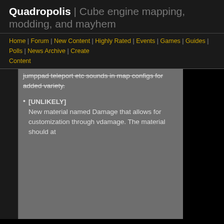Quadropolis | Cube engine mapping, modding, and mayhem
Home | Forum | New Content | Highly Rated | Events | Games | Guides | Polls | News Archive | Create Content
jumppad teleport etc sounds in map configs for added variety. [strikethrough]
[UNLIKELY] New material named Damage that allows for customization through vdamage. The material should at